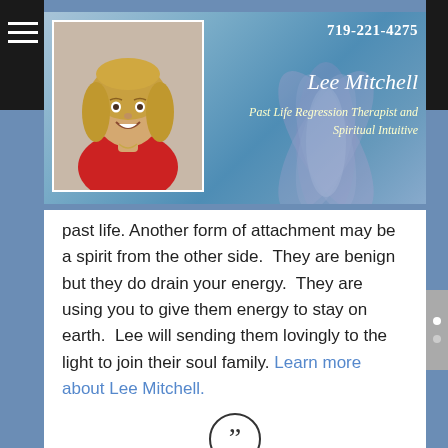[Figure (photo): Website header banner for Lee Mitchell, Past Life Regression Therapist and Spiritual Intuitive. Shows a photo of a woman with blonde hair wearing a red top, against a blue/teal background with lotus flower imagery. Phone number 719-221-4275 shown top right. Name 'Lee Mitchell' in script font and tagline 'Past Life Regression Therapist and Spiritual Intuitive' in italic script.]
past life. Another form of attachment may be a spirit from the other side. They are benign but they do drain your energy. They are using you to give them energy to stay on earth. Lee will sending them lovingly to the light to join their soul family. Learn more about Lee Mitchell.
[Figure (illustration): Closing quotation mark icon in a circle]
I have worked with Lee on a number of past life regressions. I have learned so much about myself and about those around me. Lee's style of questions helps you to become more aware of your surroundings and feelings as you walk through your past lives. Each session has brought me closer to my guides and help me to realize how each of my past lives has brought me to this current life. I look forward to continuing my